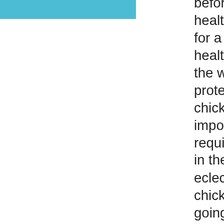[Figure (other): Teal/blue rectangle block in upper left area]
before. As someone stated above, healthy human food is the best diet for a parrot. Chicken is an excellent healthy source of meat protein. In the wild most parrots get their meat protein from bugs. The amount of chicken or other protein is a more important question as not all parrot require the same amount of protein in their diets.For instance the eclectus parrot should not have chicken unless they're breeding or going through a heavy moult. This is because this is the only